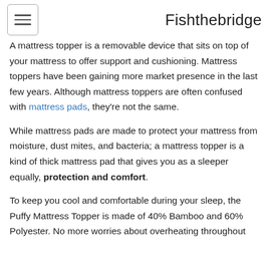Fishthebridge
A mattress topper is a removable device that sits on top of your mattress to offer support and cushioning. Mattress toppers have been gaining more market presence in the last few years. Although mattress toppers are often confused with mattress pads, they're not the same.
While mattress pads are made to protect your mattress from moisture, dust mites, and bacteria; a mattress topper is a kind of thick mattress pad that gives you as a sleeper equally, protection and comfort.
To keep you cool and comfortable during your sleep, the Puffy Mattress Topper is made of 40% Bamboo and 60% Polyester. No more worries about overheating throughout